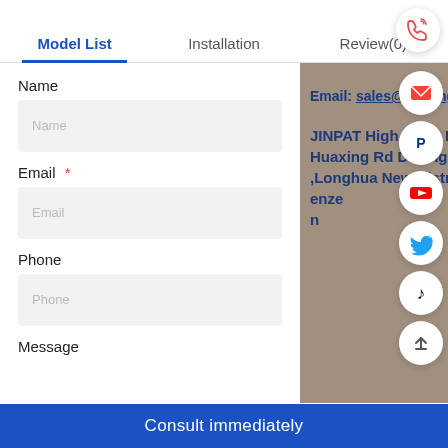Model List | Installation | Review(0)
Name
Name (input placeholder)
Email *
Email (input placeholder)
Phone
Phone (input placeholder)
Message
Email: sales@slipring.cn
JINPAT High Tech. Park 3, Huaxing Rd Dalang Street ,Longhua New District ,Shenzhen
[Figure (screenshot): Social media icon buttons: phone, email/envelope, PayPal, YouTube, Twitter, TikTok, scroll-to-top arrow]
Consult immediately